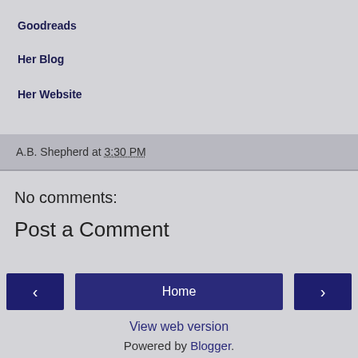Goodreads
Her Blog
Her Website
A.B. Shepherd at 3:30 PM
No comments:
Post a Comment
< Home >
View web version
Powered by Blogger.